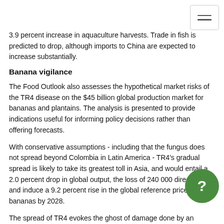3.9 percent increase in aquaculture harvests. Trade in fish is predicted to drop, although imports to China are expected to increase substantially.
Banana vigilance
The Food Outlook also assesses the hypothetical market risks of the TR4 disease on the $45 billion global production market for bananas and plantains. The analysis is presented to provide indications useful for informing policy decisions rather than offering forecasts.
With conservative assumptions - including that the fungus does not spread beyond Colombia in Latin America - TR4's gradual spread is likely to take its greatest toll in Asia, and would entail a 2.0 percent drop in global output, the loss of 240 000 direct jobs and induce a 9.2 percent rise in the global reference price of bananas by 2028.
The spread of TR4 evokes the ghost of damage done by an earlier Fusarium wilt variety that devastated the Gros Michel